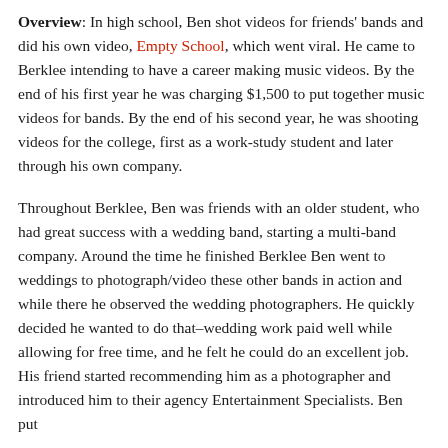Overview: In high school, Ben shot videos for friends' bands and did his own video, Empty School, which went viral. He came to Berklee intending to have a career making music videos. By the end of his first year he was charging $1,500 to put together music videos for bands. By the end of his second year, he was shooting videos for the college, first as a work-study student and later through his own company.
Throughout Berklee, Ben was friends with an older student, who had great success with a wedding band, starting a multi-band company. Around the time he finished Berklee Ben went to weddings to photograph/video these other bands in action and while there he observed the wedding photographers. He quickly decided he wanted to do that–wedding work paid well while allowing for free time, and he felt he could do an excellent job. His friend started recommending him as a photographer and introduced him to their agency Entertainment Specialists. Ben put